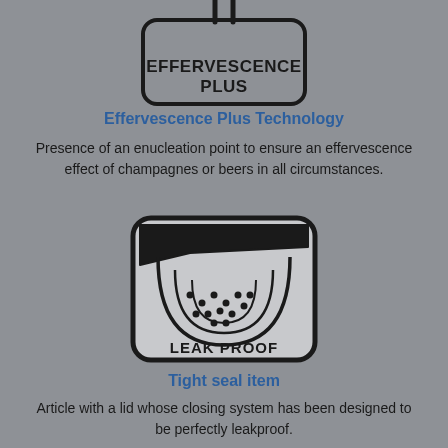[Figure (illustration): Icon showing effervescence plus technology — a rounded rectangle with two vertical lines (bubbles) above text EFFERVESCENCE PLUS]
Effervescence Plus Technology
Presence of an enucleation point to ensure an effervescence effect of champagnes or beers in all circumstances.
[Figure (illustration): Icon showing a close-up cross-section of a vessel bottom with dots (enucleation points) and a stopper/lid above, inside a rounded rectangle, below text LEAK PROOF]
Tight seal item
Article with a lid whose closing system has been designed to be perfectly leakproof.